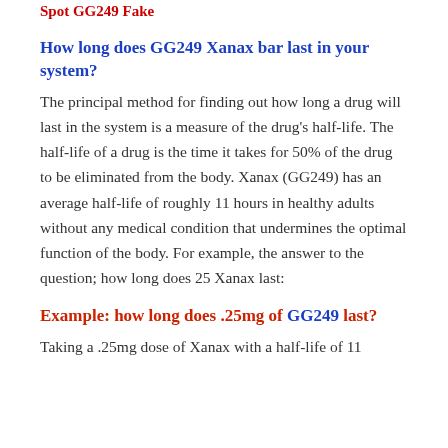Spot GG249 Fake
How long does GG249 Xanax bar last in your system?
The principal method for finding out how long a drug will last in the system is a measure of the drug's half-life. The half-life of a drug is the time it takes for 50% of the drug to be eliminated from the body. Xanax (GG249) has an average half-life of roughly 11 hours in healthy adults without any medical condition that undermines the optimal function of the body. For example, the answer to the question; how long does 25 Xanax last:
Example: how long does .25mg of GG249 last?
Taking a .25mg dose of Xanax with a half-life of 11